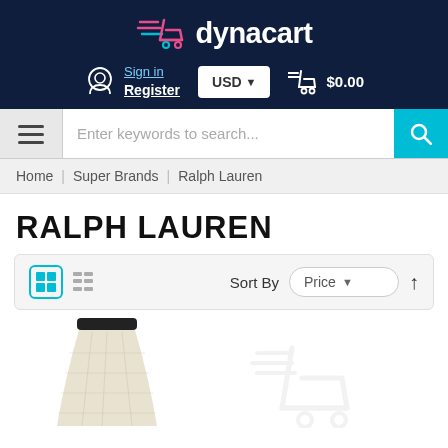[Figure (logo): Dynacart logo with shopping cart icon and text 'dynacart' in white on dark navy background]
Sign in / Register | USD | $0.00
Enter keywords to search...
Home | Super Brands | Ralph Lauren
RALPH LAUREN
Sort By Price
[Figure (photo): Partial view of a white/cream knit skirt with black waistband from Ralph Lauren, and a faint cart placeholder image to the right]